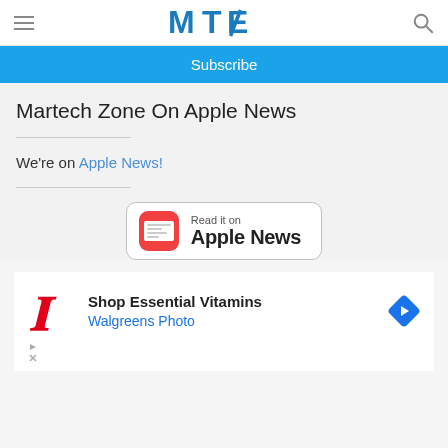MTE logo with hamburger menu and search icon
Subscribe
Martech Zone On Apple News
We're on Apple News!
[Figure (logo): Read it on Apple News button with Apple News icon]
[Figure (illustration): Walgreens advertisement: Shop Essential Vitamins, Walgreens Photo]